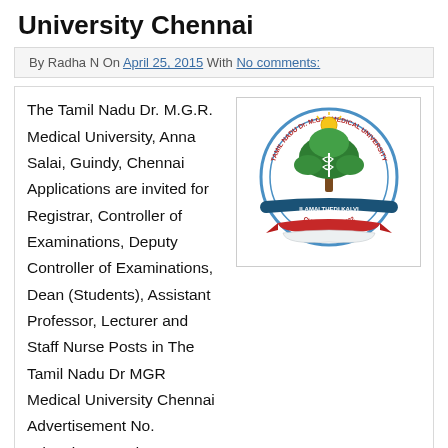University Chennai
By Radha N On April 25, 2015 With No comments:
The Tamil Nadu Dr. M.G.R. Medical University, Anna Salai, Guindy, Chennai Applications are invited for Registrar, Controller of Examinations, Deputy Controller of Examinations, Dean (Students), Assistant Professor, Lecturer and Staff Nurse Posts in The Tamil Nadu Dr MGR Medical University Chennai Advertisement No. Advertisement date 23.04.2015 Last date 30.04.2015 Direct recruitment / Deputation basis appointment : Registrar -...
[Figure (logo): Tamil Nadu Dr. M.G.R. Medical University circular seal/logo with a tree, medical symbol (caduceus), sun, and ribbon banner in red, green, blue and gold colors]
Read More